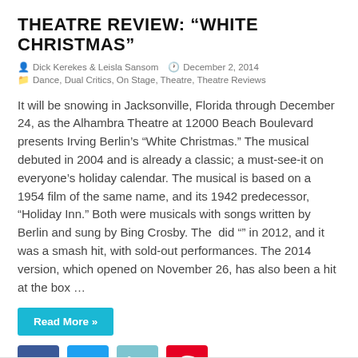THEATRE REVIEW: “WHITE CHRISTMAS”
Dick Kerekes & Leisla Sansom   December 2, 2014
Dance, Dual Critics, On Stage, Theatre, Theatre Reviews
It will be snowing in Jacksonville, Florida through December 24, as the Alhambra Theatre at 12000 Beach Boulevard presents Irving Berlin’s “White Christmas.” The musical debuted in 2004 and is already a classic; a must-see-it on everyone’s holiday calendar. The musical is based on a 1954 film of the same name, and its 1942 predecessor, “Holiday Inn.” Both were musicals with songs written by Berlin and sung by Bing Crosby. The  did “” in 2012, and it was a smash hit, with sold-out performances. The 2014 version, which opened on November 26, has also been a hit at the box …
Read More »
[Figure (infographic): Social media share buttons: Facebook, Twitter, LinkedIn, Pinterest]